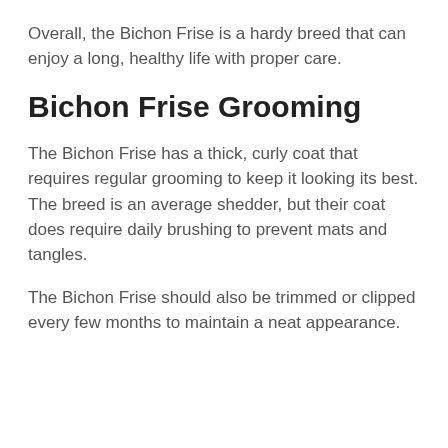Overall, the Bichon Frise is a hardy breed that can enjoy a long, healthy life with proper care.
Bichon Frise Grooming
The Bichon Frise has a thick, curly coat that requires regular grooming to keep it looking its best. The breed is an average shedder, but their coat does require daily brushing to prevent mats and tangles.
The Bichon Frise should also be trimmed or clipped every few months to maintain a neat appearance.